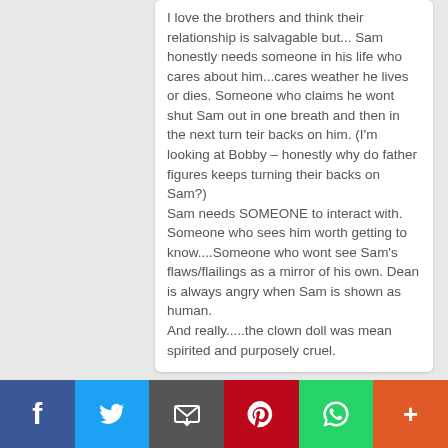I love the brothers and think their relationship is salvagable but... Sam honestly needs someone in his life who cares about him...cares weather he lives or dies. Someone who claims he wont shut Sam out in one breath and then in the next turn teir backs on him. (I'm looking at Bobby – honestly why do father figures keeps turning their backs on Sam?)

Sam needs SOMEONE to interact with. Someone who sees him worth getting to know....Someone who wont see Sam's flaws/flailings as a mirror of his own. Dean is always angry when Sam is shown as human.

And really.....the clown doll was mean spirited and purposely cruel.
# percysowner ++ 2013-04-17 17:44
[Figure (infographic): Social media share bar with buttons: Facebook (blue, f icon), Twitter (light blue, bird icon), Email (dark gray, envelope icon), Pinterest (red, P icon), WhatsApp (green, phone icon), More (orange, + icon)]